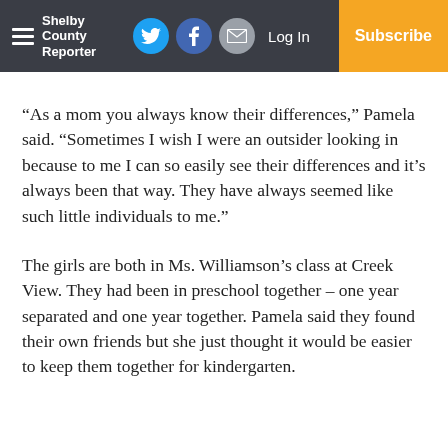Shelby County Reporter — Log In | Subscribe
“As a mom you always know their differences,” Pamela said. “Sometimes I wish I were an outsider looking in because to me I can so easily see their differences and it’s always been that way. They have always seemed like such little individuals to me.”
The girls are both in Ms. Williamson’s class at Creek View. They had been in preschool together – one year separated and one year together. Pamela said they found their own friends but she just thought it would be easier to keep them together for kindergarten.